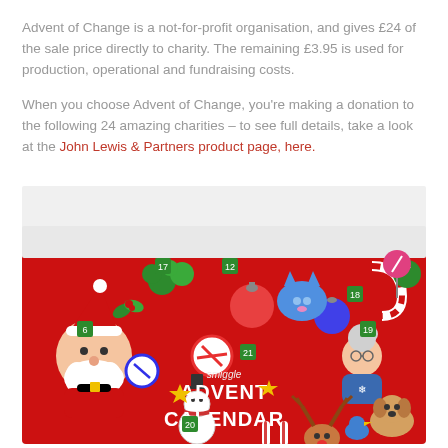Advent of Change is a not-for-profit organisation, and gives £24 of the sale price directly to charity. The remaining £3.95 is used for production, operational and fundraising costs.
When you choose Advent of Change, you're making a donation to the following 24 amazing charities – to see full details, take a look at the John Lewis & Partners product page, here.
[Figure (photo): Smiggle Advent Calendar product box with colorful Christmas characters including Santa Claus, a snowman, a cat, candy canes, ornaments, and various holiday decorations on a red background]